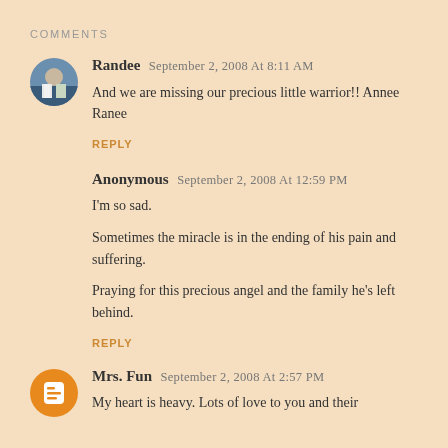COMMENTS
Randee  September 2, 2008 at 8:11 AM
And we are missing our precious little warrior!! Annee Ranee
REPLY
Anonymous  September 2, 2008 at 12:59 PM
I'm so sad.
Sometimes the miracle is in the ending of his pain and suffering.
Praying for this precious angel and the family he's left behind.
REPLY
Mrs. Fun  September 2, 2008 at 2:57 PM
My heart is heavy. Lots of love to you and their